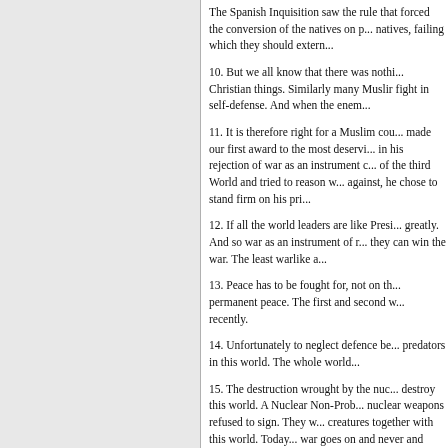The Spanish Inquisition saw the rule that forced the conversion of the natives on pain of death of the natives, failing which they should exterminate them.
10. But we all know that there was nothing Christian things. Similarly many Muslim fight in self-defense. And when the enemy...
11. It is therefore right for a Muslim country... made our first award to the most deserving... in his rejection of war as an instrument of... of the third World and tried to reason w... against, he chose to stand firm on his pri...
12. If all the world leaders are like Presi... greatly. And so war as an instrument of n... they can win the war. The least warlike a...
13. Peace has to be fought for, not on th... permanent peace. The first and second w... recently.
14. Unfortunately to neglect defence be... predators in this world. The whole world...
15. The destruction wrought by the nuc... destroy this world. A Nuclear Non-Prol... nuclear weapons refused to sign. They w... creatures together with this world. Today... war goes on and never and more lethal n...